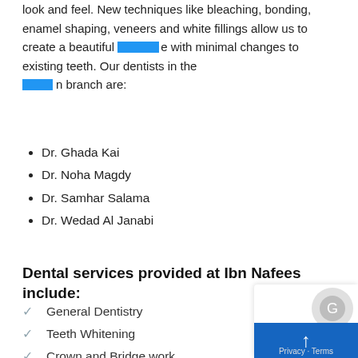look and feel. New techniques like bleaching, bonding, enamel shaping, veneers and white fillings allow us to create a beautiful smile with minimal changes to existing teeth. Our dentists in the main branch are:
Dr. Ghada Kai
Dr. Noha Magdy
Dr. Samhar Salama
Dr. Wedad Al Janabi
Dental services provided at Ibn Nafees include:
General Dentistry
Teeth Whitening
Crown and Bridge work
Cosmetic Dentistry
Root Canal Treatment
Advanced Gum Treatment
Composite Fillings
Cosmetic Dentistry
Gummy Smile Repair
Laser Gum De-pigmentation